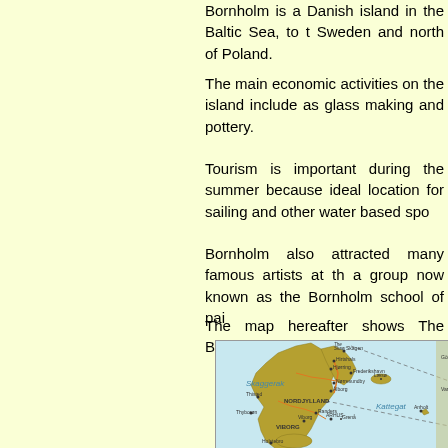Bornholm is a Danish island in the Baltic Sea, to the south of Sweden and north of Poland.
The main economic activities on the island include tourism, as well as glass making and pottery.
Tourism is important during the summer because the island is an ideal location for sailing and other water based sports.
Bornholm also attracted many famous artists at the turn of the century, a group now known as the Bornholm school of painters.
The map hereafter shows The Bornholm island, dow...
[Figure (map): A map of Denmark showing Jutland peninsula with regions labeled NORDJYLLAND and VIBORG, bodies of water labeled Skaggerak and Kattegat, and various cities including Skagen, Hirtshals, Hjørring, Frederikshavn, Nørresundby, Ålborg, Thyborøn, Thisted, Randers, Viborg, Grenå, Holstebro. Also shows Anholt island and Læsø island.]